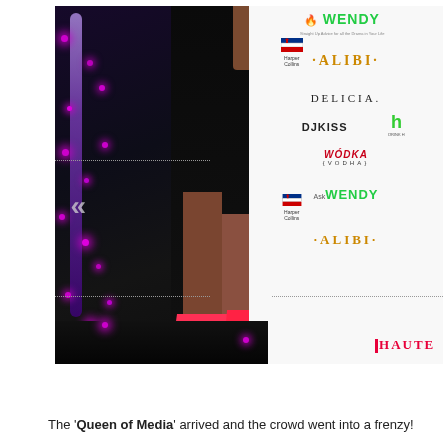[Figure (photo): Photo of a person in a black dress with high slit showing legs and red/pink high heels, standing in front of a sponsor roll banner featuring brands: Wendy, HarperCollins, ALIBI, DELICIA, DJKISS, h (drink), WÓDKA (VODKA), and AskWENDY. Background has purple twinkle lights. Navigation chevron arrows visible on left. Haute magazine logo watermark in bottom right corner.]
The 'Queen of Media' arrived and the crowd went into a frenzy!